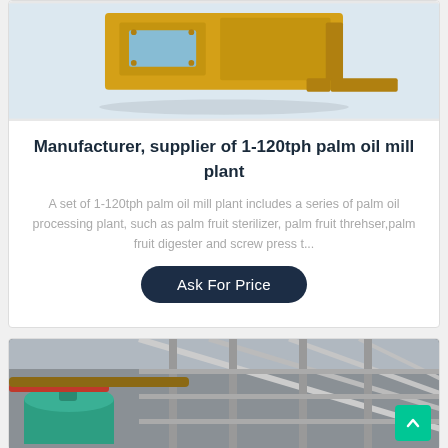[Figure (photo): Yellow industrial palm oil mill machine equipment on white background, partially cropped at top]
Manufacturer, supplier of 1-120tph palm oil mill plant
A set of 1-120tph palm oil mill plant includes a series of palm oil processing plant, such as palm fruit sterilizer, palm fruit threhser,palm fruit digester and screw press t...
Ask For Price
[Figure (photo): Industrial factory interior with green machinery tanks and metal scaffolding/staircases, partially cropped at bottom]